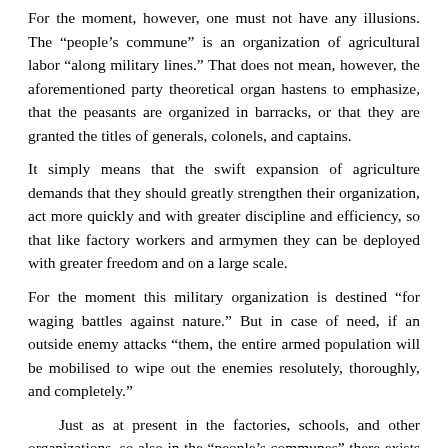For the moment, however, one must not have any illusions. The “people’s commune” is an organization of agricultural labor “along military lines.” That does not mean, however, the aforementioned party theoretical organ hastens to emphasize, that the peasants are organized in barracks, or that they are granted the titles of generals, colonels, and captains.
It simply means that the swift expansion of agriculture demands that they should greatly strengthen their organization, act more quickly and with greater discipline and efficiency, so that like factory workers and armymen they can be deployed with greater freedom and on a large scale.
For the moment this military organization is destined “for waging battles against nature.” But in case of need, if an outside enemy attacks “them, the entire armed population will be mobilised to wipe out the enemies resolutely, thoroughly, and completely.”
Just as at present in the factories, schools, and other organizations, so also in the “people’s communes” there exists a militia comprising all men and women from 17 to 40, which